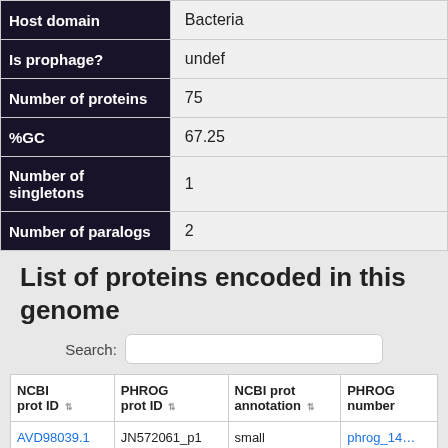| Field | Value |
| --- | --- |
| Host domain | Bacteria |
| Is prophage? | undef |
| Number of proteins | 75 |
| %GC | 67.25 |
| Number of singletons | 1 |
| Number of paralogs | 2 |
List of proteins encoded in this genome
Search:
| NCBI prot ID | PHROG prot ID | NCBI prot annotation | PHROG number |
| --- | --- | --- | --- |
| AVD98039.1 | JN572061_p1 | small terminase | phrog_14... |